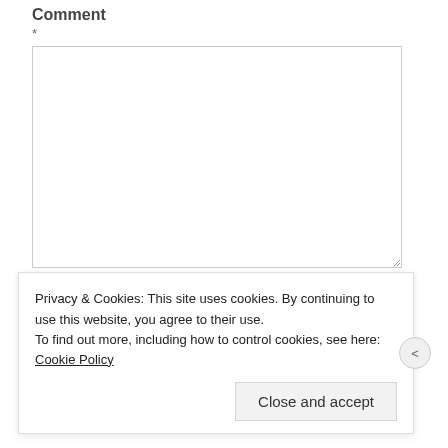Comment
*
[Comment text area - empty]
Name *
Email *
Privacy & Cookies: This site uses cookies. By continuing to use this website, you agree to their use.
To find out more, including how to control cookies, see here: Cookie Policy
Close and accept